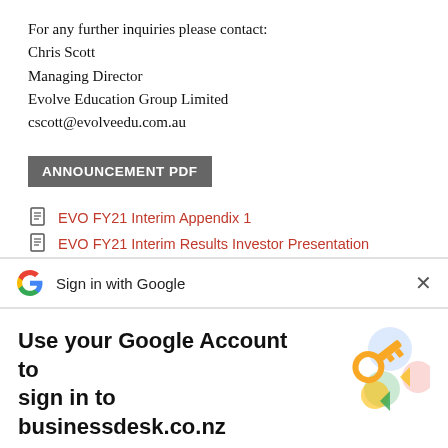For any further inquiries please contact:
Chris Scott
Managing Director
Evolve Education Group Limited
cscott@evolveedu.com.au
ANNOUNCEMENT PDF
EVO FY21 Interim Appendix 1
EVO FY21 Interim Results Investor Presentation
[Figure (screenshot): Google Sign in with Google bar with close button, overlaying page content]
[Figure (infographic): Google sign-in modal: 'Use your Google Account to sign in to businessdesk.co.nz'. Subtitle: 'No more passwords to remember. Signing in is fast, simple and secure.' With key illustration and Continue button.]